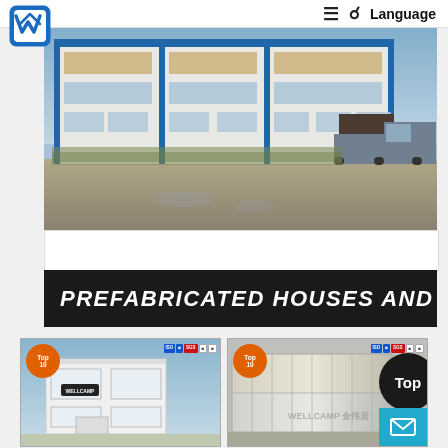≡ 🔍 Language
[Figure (photo): Exterior photo of a large multi-storey prefabricated industrial/commercial building with white and blue cladding, windows across multiple floors, and a truck visible at the right. Taken outdoors with a paved yard in the foreground.]
PREFABRICATED HOUSES AND
[Figure (photo): Product card 1: A white prefabricated container house/flat-pack modular building against a blue sky background. Top-10 orange badge in the top-left corner. ISO, SGS and other certification badges in top-right. WELLCAMP logo on the building.]
[Figure (photo): Product card 2: A grey/silver prefabricated container unit. Top-10 orange badge in the top-left corner. ISO, SGS and other certification badges in top-right. WELLCAMP watermark text. A dark circular 'Top' button overlay on the right side. Blue mail/envelope button at bottom-right.]